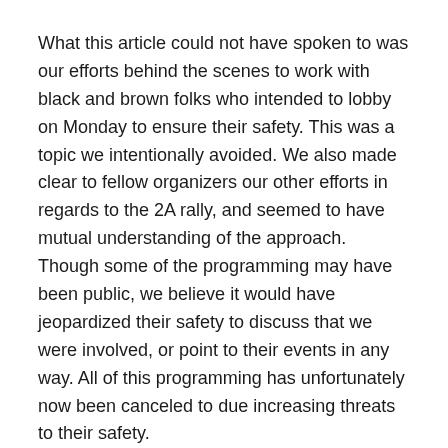What this article could not have spoken to was our efforts behind the scenes to work with black and brown folks who intended to lobby on Monday to ensure their safety. This was a topic we intentionally avoided. We also made clear to fellow organizers our other efforts in regards to the 2A rally, and seemed to have mutual understanding of the approach. Though some of the programming may have been public, we believe it would have jeopardized their safety to discuss that we were involved, or point to their events in any way. All of this programming has unfortunately now been canceled to due increasing threats to their safety.
It has been and continues to be an issue for us that the many important wins that can be had in the legislature, in this moment of political shift, have taken the backseat to the gun debate. While we strongly believe that opponents across either side of the gun issue are to blame for points